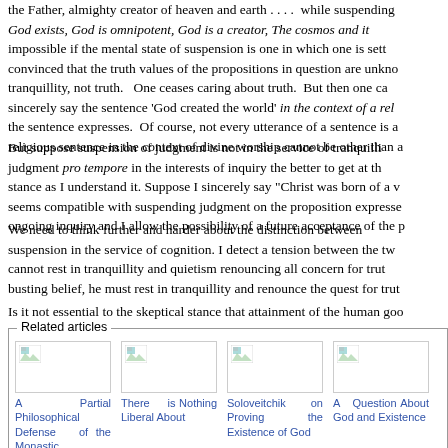the Father, almighty creator of heaven and earth . . . .' while suspending judgment on 'God exists, God is omnipotent, God is a creator, The cosmos and it impossible if the mental state of suspension is one in which one is sett convinced that the truth values of the propositions in question are unkno tranquillity, not truth.   One ceases caring about truth.  But then one ca sincerely say the sentence 'God created the world' in the context of a rel the sentence expresses.  Of course, not every utterance of a sentence is a religious sentence in the context of divine worship cannot be other than a
But suppose suspension of judgment is not in the service of tranquilli judgment pro tempore in the interests of inquiry the better to get at th stance as I understand it. Suppose I sincerely say "Christ was born of a v seems compatible with suspending judgment on the proposition expresse ongoing inquiry and I allow the possibility of a future acceptance of the p
We need to think further and harder about the distinction between suspension in the service of cognition. I detect a tension between the tw cannot rest in tranquillity and quietism renouncing all concern for trut busting belief, he must rest in tranquillity and renounce the quest for trut
Is it not essential to the skeptical stance that attainment of the human goo
Related articles
[Figure (other): Thumbnail image placeholder for article: A Partial Philosophical Defense of the Monastic]
A Partial Philosophical Defense of the Monastic
[Figure (other): Thumbnail image placeholder for article: There is Nothing Liberal About]
There is Nothing Liberal About
[Figure (other): Thumbnail image placeholder for article: Soloveitchik on Proving the Existence of God]
Soloveitchik on Proving the Existence of God
[Figure (other): Thumbnail image placeholder for article: A Question About God and Existence]
A Question About God and Existence